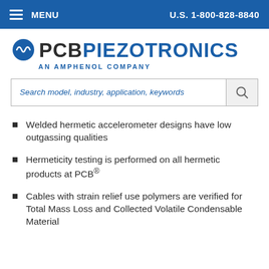MENU   U.S. 1-800-828-8840
[Figure (logo): PCB Piezotronics - An Amphenol Company logo with blue circular waveform icon]
Search model, industry, application, keywords
Welded hermetic accelerometer designs have low outgassing qualities
Hermeticity testing is performed on all hermetic products at PCB®
Cables with strain relief use polymers are verified for Total Mass Loss and Collected Volatile Condensable Material